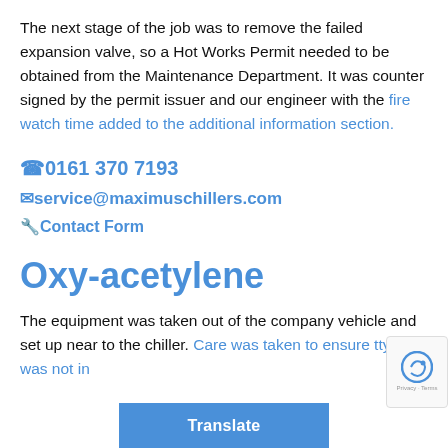The next stage of the job was to remove the failed expansion valve, so a Hot Works Permit needed to be obtained from the Maintenance Department. It was counter signed by the permit issuer and our engineer with the fire watch time added to the additional information section.
📞0161 370 7193
✉service@maximuschillers.com
🔧Contact Form
Oxy-acetylene
The equipment was taken out of the company vehicle and set up near to the chiller. Care was taken to ensure the oxy-acetylene was not in